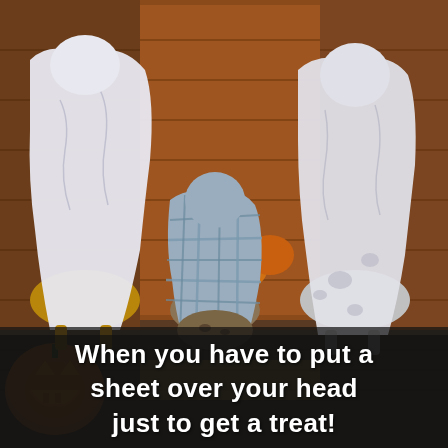[Figure (photo): Three dogs dressed in Halloween ghost costumes (sheets draped over their heads) standing on a wooden porch. Left dog has a plain white sheet, middle dog has a blue plaid cloth, right dog has a white sheet with spots. There are pumpkins and a jack-o'-lantern visible.]
When you have to put a sheet over your head just to get a treat!